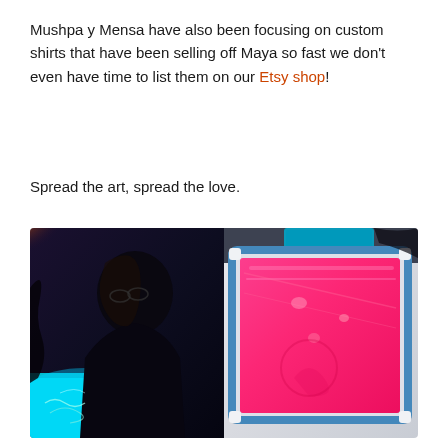Mushpa y Mensa have also been focusing on custom shirts that have been selling off Maya so fast we don't even have time to list them on our Etsy shop!
Spread the art, spread the love.
[Figure (photo): Two side-by-side photos: left shows a silhouetted person with teal/cyan glowing light box below and orange/yellow light from upper left; right shows a screen printing frame with bright pink/magenta ink on a print screen.]